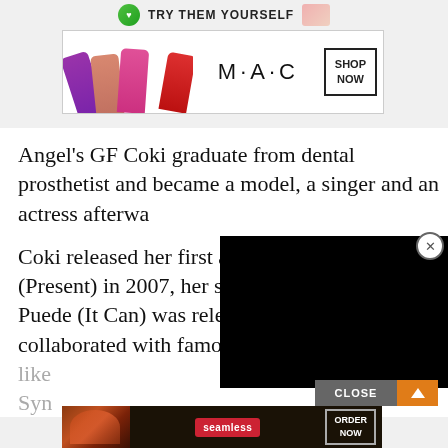[Figure (screenshot): Top strip of a webpage showing 'TRY THEM YOURSELF' text with a circular logo/icon]
[Figure (screenshot): MAC cosmetics advertisement banner with purple, pink, and red lipsticks, MAC logo, and SHOP NOW button]
Angel's GF Coki graduate from dental prosthetist and became a model, a singer and an actress afterwa
[Figure (screenshot): Black video player overlay covering part of the article text]
Coki released her first a (Present) in 2007, her s Puede (It Can) was released last year. Coki has collaborated with famous Latin singers like Syn
[Figure (screenshot): Seamless food delivery advertisement banner with pizza image, Seamless red logo, and ORDER NOW button]